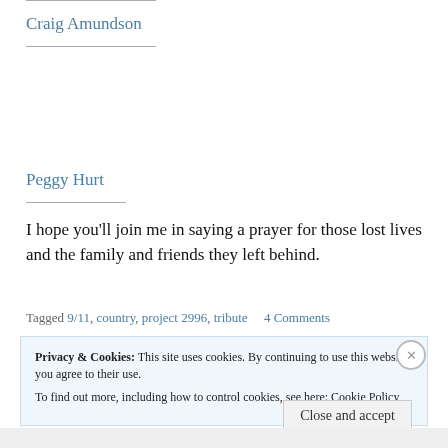Craig Amundson
Peggy Hurt
I hope you'll join me in saying a prayer for those lost lives and the family and friends they left behind.
Tagged 9/11, country, project 2996, tribute    4 Comments
Privacy & Cookies: This site uses cookies. By continuing to use this website, you agree to their use. To find out more, including how to control cookies, see here: Cookie Policy
Close and accept